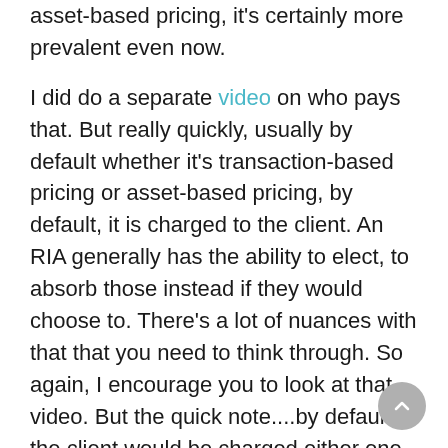asset-based pricing, it's certainly more prevalent even now.

I did do a separate video on who pays that. But really quickly, usually by default whether it's transaction-based pricing or asset-based pricing, by default, it is charged to the client. An RIA generally has the ability to elect, to absorb those instead if they would choose to. There's a lot of nuances with that that you need to think through. So again, I encourage you to look at that video. But the quick note....by default, the client would be charged either one of those, whichever way you set up